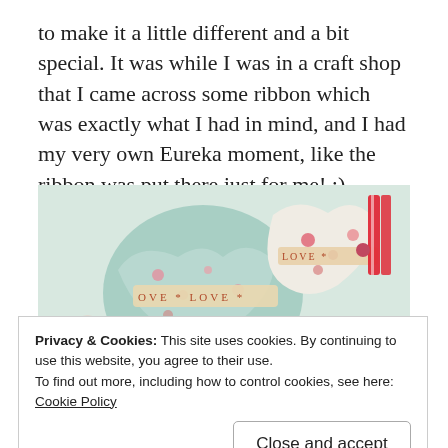to make it a little different and a bit special. It was while I was in a craft shop that I came across some ribbon which was exactly what I had in mind, and I had my very own Eureka moment, like the ribbon was put there just for me! :)
[Figure (photo): Fabric heart-shaped decorative cushions/ornaments with floral print and 'LOVE' ribbon trim, arranged together. Pastel and red color scheme.]
Privacy & Cookies: This site uses cookies. By continuing to use this website, you agree to their use.
To find out more, including how to control cookies, see here: Cookie Policy